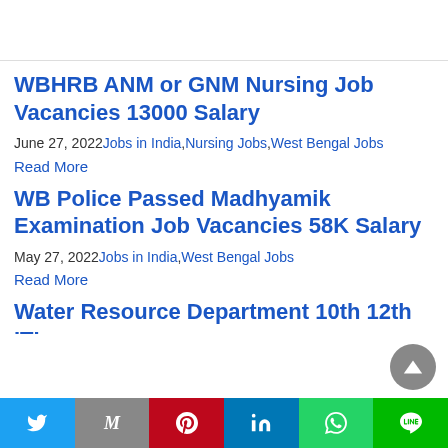WBHRB ANM or GNM Nursing Job Vacancies 13000 Salary
June 27, 2022 Jobs in India, Nursing Jobs, West Bengal Jobs
Read More
WB Police Passed Madhyamik Examination Job Vacancies 58K Salary
May 27, 2022 Jobs in India, West Bengal Jobs
Read More
Water Resource Department 10th 12th ITI